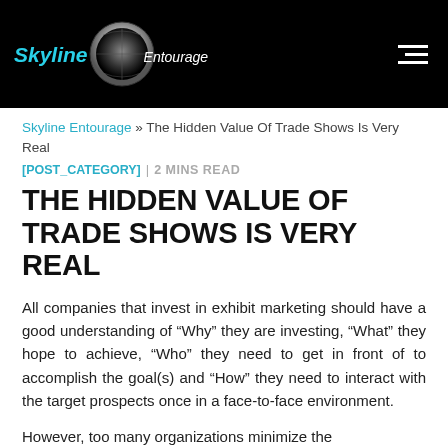Skyline Entourage [logo] [hamburger menu]
Skyline Entourage » The Hidden Value Of Trade Shows Is Very Real
[POST_CATEGORY] | 2 MINS READ
THE HIDDEN VALUE OF TRADE SHOWS IS VERY REAL
All companies that invest in exhibit marketing should have a good understanding of “Why” they are investing, “What” they hope to achieve, “Who” they need to get in front of to accomplish the goal(s) and “How” they need to interact with the target prospects once in a face-to-face environment.
However, too many organizations minimize the